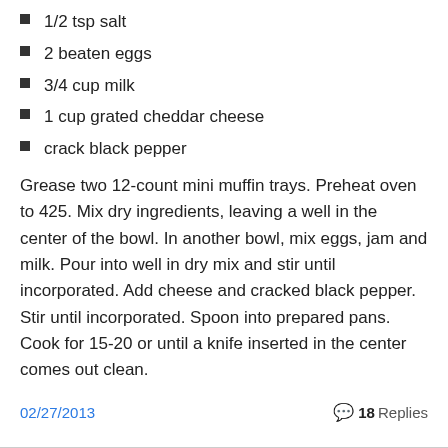1/2 tsp salt
2 beaten eggs
3/4 cup milk
1 cup grated cheddar cheese
crack black pepper
Grease two 12-count mini muffin trays. Preheat oven to 425. Mix dry ingredients, leaving a well in the center of the bowl. In another bowl, mix eggs, jam and milk. Pour into well in dry mix and stir until incorporated. Add cheese and cracked black pepper. Stir until incorporated. Spoon into prepared pans. Cook for 15-20 or until a knife inserted in the center comes out clean.
02/27/2013   18 Replies